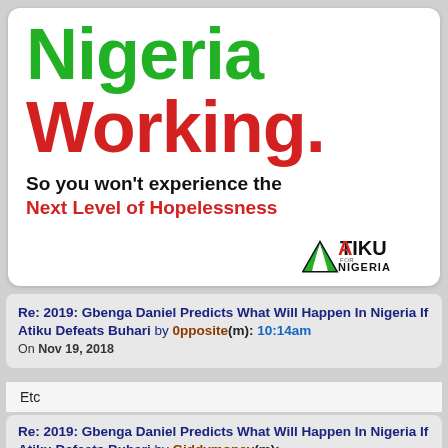[Figure (infographic): Atiku for Nigeria campaign poster with large green text 'Nigeria' and red text 'Working.' followed by black text 'So you won't experience the' and red bold text 'Next Level of Hopelessness', with Atiku for Nigeria logo bottom right]
Re: 2019: Gbenga Daniel Predicts What Will Happen In Nigeria If Atiku Defeats Buhari by 0pposite(m): 10:14am On Nov 19, 2018
Etc
Re: 2019: Gbenga Daniel Predicts What Will Happen In Nigeria If Atiku Defeats Buhari by Giddymoney(m): 10:20am On Nov 19, 2018
Plunge: